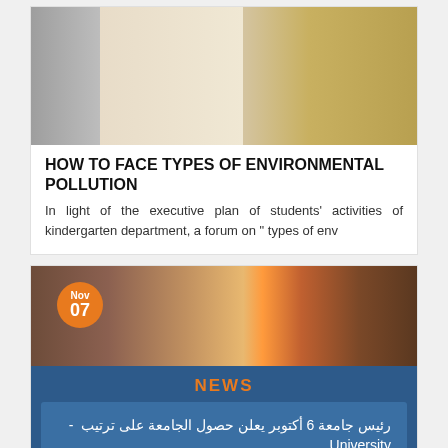[Figure (photo): People standing in front of a poster/banner about environmental pollution]
HOW TO FACE TYPES OF ENVIRONMENTAL POLLUTION
In light of the executive plan of students' activities of kindergarten department, a forum on " types of env
[Figure (photo): Library or hall interior with Nov 07 date badge]
NEWS
رئيس جامعة 6 أكتوبر يعلن حصول الجامعة على ترتيب - University